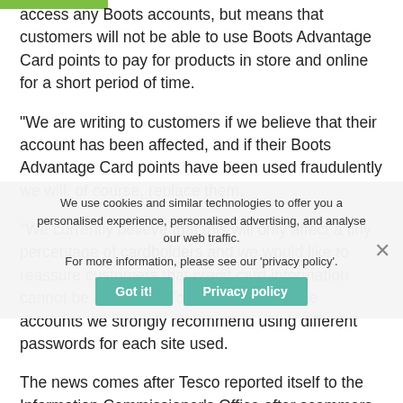access any Boots accounts, but means that customers will not be able to use Boots Advantage Card points to pay for products in store and online for a short period of time.
“We are writing to customers if we believe that their account has been affected, and if their Boots Advantage Card points have been used fraudulently we will, of course, replace them.
“We currently believe that this will only affect a tiny percentage of cardholders and we would like to reassure customers that credit card information cannot be accessed. To help protect online accounts we strongly recommend using different passwords for each site used.
The news comes after Tesco reported itself to the Information Commissioner’s Office after scammers targeted its online shoppers.
We use cookies and similar technologies to offer you a personalised experience, personalised advertising, and analyse our web traffic. For more information, please see our ‘privacy policy’.